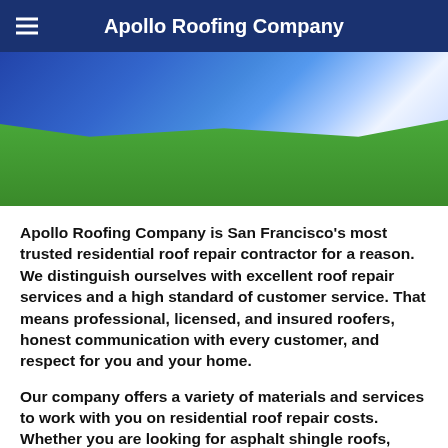Apollo Roofing Company
[Figure (photo): Photograph showing green grass lawn with a blue tarp/plastic sheeting partially visible at the top, likely covering a roof or area near a building. A dark strip is visible at the very top edge.]
Apollo Roofing Company is San Francisco's most trusted residential roof repair contractor for a reason. We distinguish ourselves with excellent roof repair services and a high standard of customer service. That means professional, licensed, and insured roofers, honest communication with every customer, and respect for you and your home.
Our company offers a variety of materials and services to work with you on residential roof repair costs. Whether you are looking for asphalt shingle roofs, metal roofing, traditional tile roof, or wood shake roofs, we are happy to provide our services to